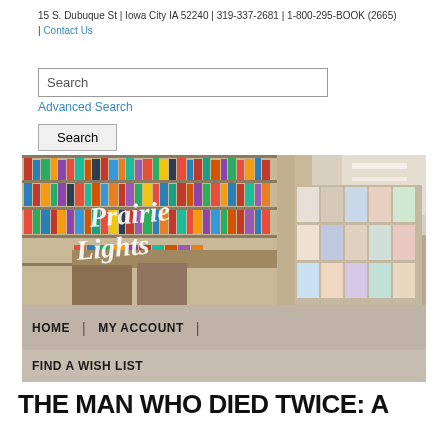15 S. Dubuque St | Iowa City IA 52240 | 319-337-2681 | 1-800-295-BOOK (2665)
| Contact Us
Search
Advanced Search
Search
[Figure (photo): Interior photo of Prairie Lights bookstore showing shelves filled with books, with Prairie Lights cursive logo overlaid in white. Navigation bar below with HOME, MY ACCOUNT, FIND A WISH LIST links on a tan/beige background.]
THE MAN WHO DIED TWICE: A